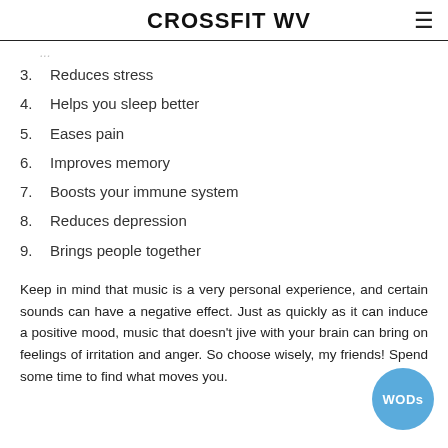CROSSFIT WV
3.  Reduces stress
4.  Helps you sleep better
5.  Eases pain
6.  Improves memory
7.  Boosts your immune system
8.  Reduces depression
9.  Brings people together
Keep in mind that music is a very personal experience, and certain sounds can have a negative effect. Just as quickly as it can induce a positive mood, music that doesn't jive with your brain can bring on feelings of irritation and anger. So choose wisely, my friends! Spend some time to find what moves you.